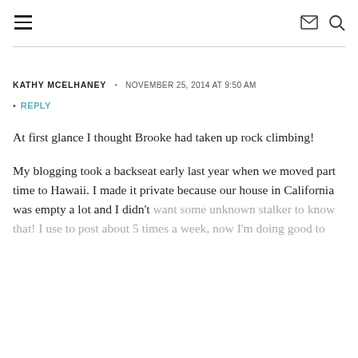≡  ✉  🔍
KATHY MCELHANEY • NOVEMBER 25, 2014 AT 9:50 AM
• REPLY
At first glance I thought Brooke had taken up rock climbing!
My blogging took a backseat early last year when we moved part time to Hawaii. I made it private because our house in California was empty a lot and I didn't want some unknown stalker to know that! I use to post about 5 times a week, now I'm doing good to